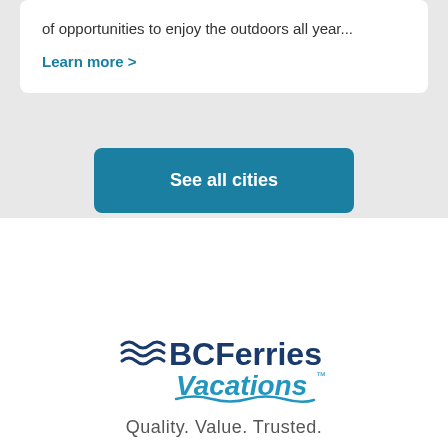of opportunities to enjoy the outdoors all year...
Learn more >
See all cities
[Figure (logo): BC Ferries Vacations logo with wave motifs and blue text]
Quality. Value. Trusted.